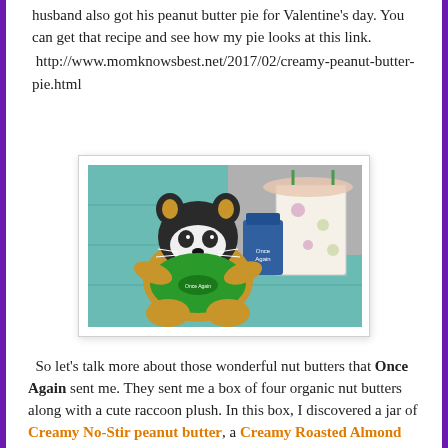husband also got his peanut butter pie for Valentine's day. You can get that recipe and see how my pie looks at this link. http://www.momknowsbest.net/2017/02/creamy-peanut-butter-pie.html
[Figure (photo): A stuffed raccoon plush toy wearing a green 'Once Again' shirt, sitting next to product jars and a decorative gift bag with flower designs, on a teal/turquoise wooden surface.]
So let's talk more about those wonderful nut butters that Once Again sent me. They sent me a box of four organic nut butters along with a cute raccoon plush. In this box, I discovered a jar of Creamy No-Stir peanut butter, a Creamy Roasted Almond Butter, a Creamy Cashew Butter, and a Sunflower Seed Butter. I